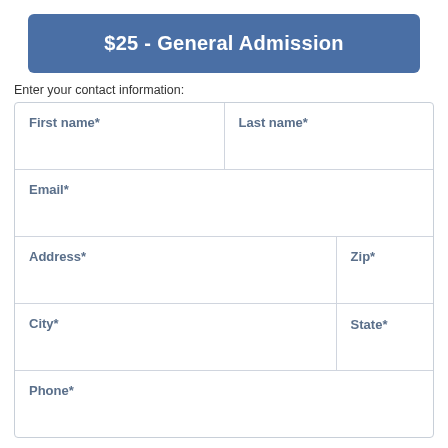$25 - General Admission
Enter your contact information:
| First name* | Last name* |
| Email* |  |
| Address* | Zip* |
| City* | State* |
| Phone* |  |
Please enter the names of all children ages 12 and under attending in your group: